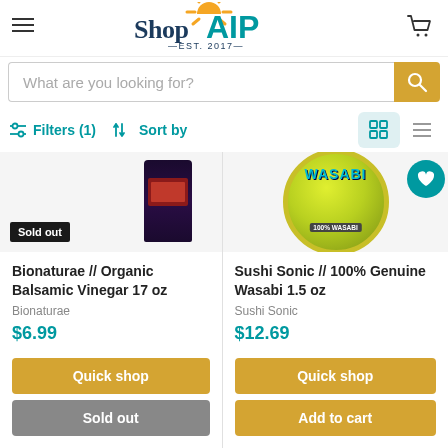[Figure (logo): ShopAIP logo with sun rays, EST. 2017]
[Figure (screenshot): Search bar with placeholder 'What are you looking for?' and orange search button]
Filters (1)
Sort by
Bionaturae // Organic Balsamic Vinegar 17 oz
Bionaturae
$6.99
Quick shop
Sold out
Sushi Sonic // 100% Genuine Wasabi 1.5 oz
Sushi Sonic
$12.69
Quick shop
Add to cart